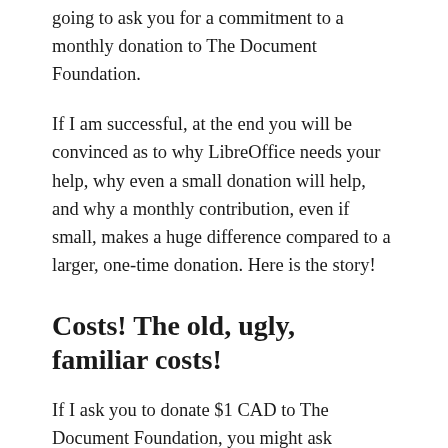going to ask you for a commitment to a monthly donation to The Document Foundation.
If I am successful, at the end you will be convinced as to why LibreOffice needs your help, why even a small donation will help, and why a monthly contribution, even if small, makes a huge difference compared to a larger, one-time donation. Here is the story!
Costs! The old, ugly, familiar costs!
If I ask you to donate $1 CAD to The Document Foundation, you might ask yourself, “What? $1? What is that supposed to achieve? Are you kidding